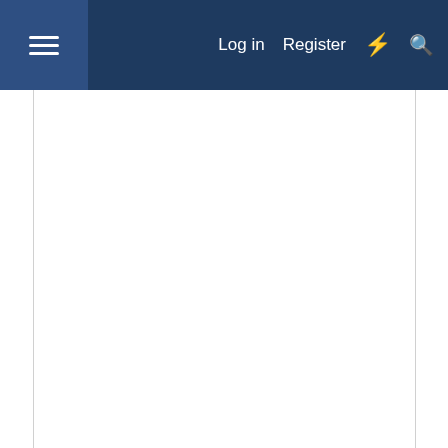Log in  Register
May 9, 2022   #3,966
MARC Rider
Engineer  AU Supporting Member
In-store shopping
Curbside pickup